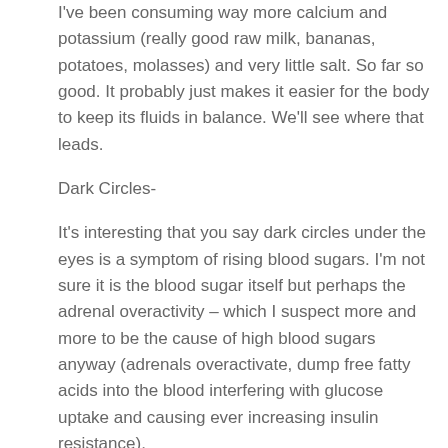I've been consuming way more calcium and potassium (really good raw milk, bananas, potatoes, molasses) and very little salt. So far so good. It probably just makes it easier for the body to keep its fluids in balance. We'll see where that leads.
Dark Circles-
It's interesting that you say dark circles under the eyes is a symptom of rising blood sugars. I'm not sure it is the blood sugar itself but perhaps the adrenal overactivity – which I suspect more and more to be the cause of high blood sugars anyway (adrenals overactivate, dump free fatty acids into the blood interfering with glucose uptake and causing ever increasing insulin resistance).
I also think that this whole bleeding gums and bad teeth are related blood sugar...